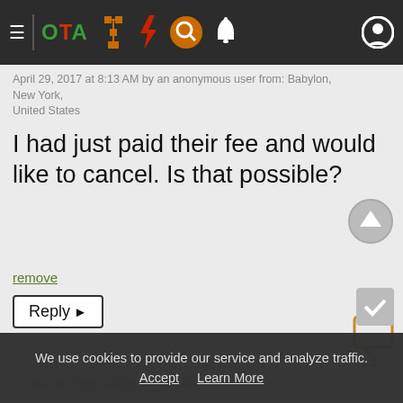OTA [navigation icons]
April 29, 2017 at 8:13 AM by an anonymous user from: Babylon, New York, United States
I had just paid their fee and would like to cancel. Is that possible?
remove
Reply>
4
April 29, 2017 at 8:43 AM by info
You cannot trust them to cancel, therefore, if you have used your credit card, contact your bank and
We use cookies to provide our service and analyze traffic.
Accept   Learn More